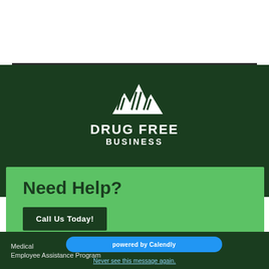[Figure (logo): Drug Free Business logo: white mountain peaks icon above text DRUG FREE BUSINESS on dark green background]
Need Help?
Call Us Today!
Medical
powered by Calendly
Employee Assistance Program
Never see this message again.